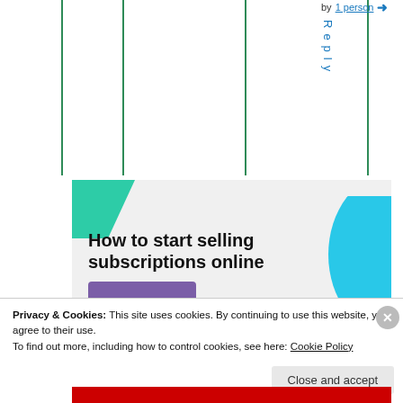by 1 person
Reply
[Figure (screenshot): Advertisement banner with green and blue decorative shapes, title 'How to start selling subscriptions online', and a purple button]
Privacy & Cookies: This site uses cookies. By continuing to use this website, you agree to their use. To find out more, including how to control cookies, see here: Cookie Policy
Close and accept